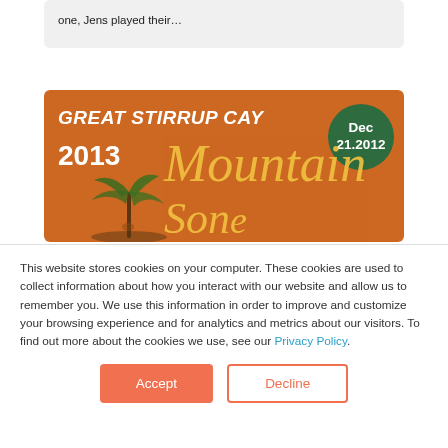one, Jens played their…
[Figure (photo): Orange promotional image for Great Stirrup Cay 2013, with script text 'Mountain Song' and a dark green circle badge reading 'Dec 21.2012']
This website stores cookies on your computer. These cookies are used to collect information about how you interact with our website and allow us to remember you. We use this information in order to improve and customize your browsing experience and for analytics and metrics about our visitors. To find out more about the cookies we use, see our Privacy Policy.